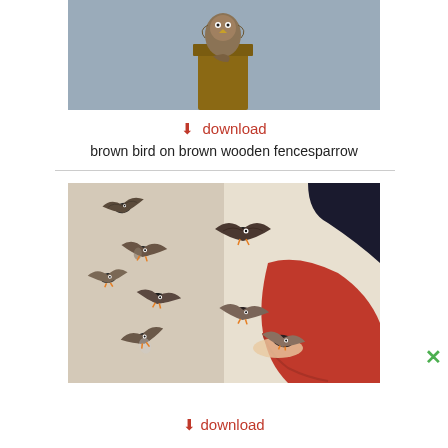[Figure (photo): Brown bird (sparrow/owl) perched on a brown wooden post/fence, gray blurred background, photographed from below/side]
⬇ download
brown bird on brown wooden fencesparrow
[Figure (photo): Flock of sparrows in flight, being fed by a person wearing a red jacket/coat, light beige background wall]
⬇ download